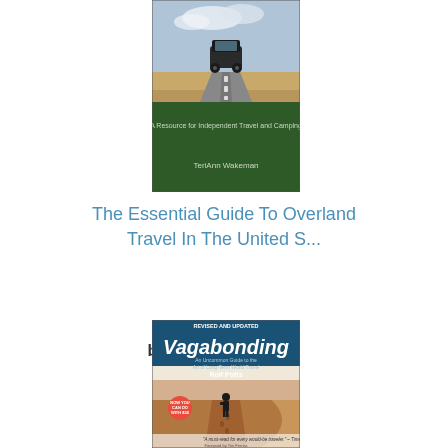[Figure (photo): Book cover of 'The Essential Guide To Overland Travel In The United States' by TeriAnn Wakeman. Shows a 4WD vehicle on a desert road with a green lower banner.]
The Essential Guide To Overland Travel In The United S...
by TeriAnn Wakeman
From $64.95
[Figure (photo): Book cover of 'Vagabonding: An Uncommon Guide to the Art of Long-Term World Travel' by Rolf Potts. Shows a person walking on a desert road with footprints. Red and white cover with blue title banner.]